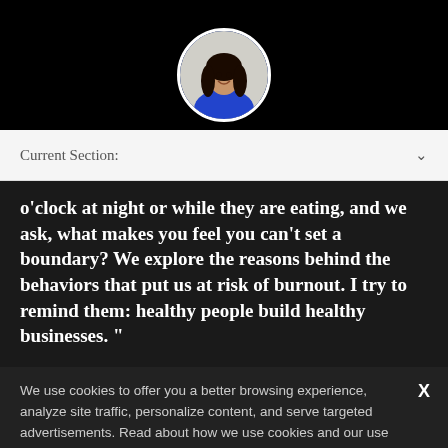[Figure (photo): Circular profile photo of a woman in a blue dress, smiling, set against a dark background header]
Current Section:
o'clock at night or while they are eating, and we ask, what makes you feel you can't set a boundary? We explore the reasons behind the behaviors that put us at risk of burnout. I try to remind them: healthy people build healthy businesses. "
We use cookies to offer you a better browsing experience, analyze site traffic, personalize content, and serve targeted advertisements. Read about how we use cookies and our use of data by reading our new Privacy Policy. If you continue to use this site, you